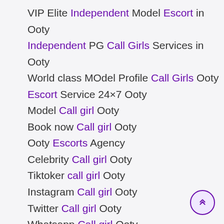VIP Elite Independent Model Escort in Ooty
Independent PG Call Girls Services in Ooty
World class MOdel Profile Call Girls Ooty
Escort Service 24×7 Ooty
Model Call girl Ooty
Book now Call girl Ooty
Ooty Escorts Agency
Celebrity Call girl Ooty
Tiktoker call girl Ooty
Instagram Call girl Ooty
Twitter Call girl Ooty
Whatsapp Call girl Ooty
Facebook Call Girl Ooty
Instagram Escort service Ooty
Facebook Escort service Ooty
Whatsapp Escort service Ooty